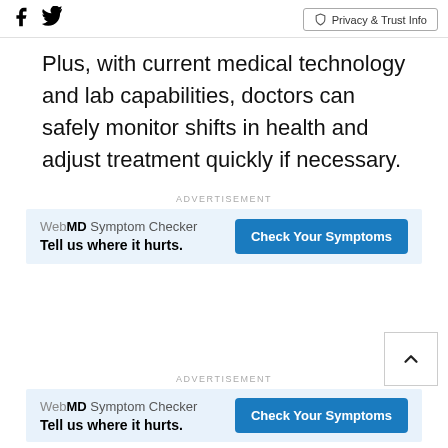Social icons (Facebook, Twitter) and Privacy & Trust Info button
Plus, with current medical technology and lab capabilities, doctors can safely monitor shifts in health and adjust treatment quickly if necessary.
[Figure (other): WebMD advertisement banner: 'WebMD Symptom Checker — Tell us where it hurts.' with 'Check Your Symptoms' button]
[Figure (other): WebMD advertisement banner (second): 'WebMD Symptom Checker — Tell us where it hurts.' with 'Check Your Symptoms' button]